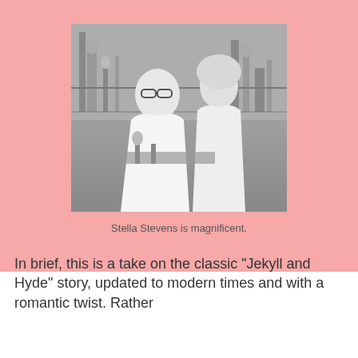[Figure (photo): Black and white photo of two people in a laboratory setting. A man in a white lab coat wearing glasses is leaning over lab equipment, and a blonde woman in a white dress stands next to him looking at the camera.]
Stella Stevens is magnificent.
In brief, this is a take on the classic "Jekyll and Hyde" story, updated to modern times and with a romantic twist. Rather